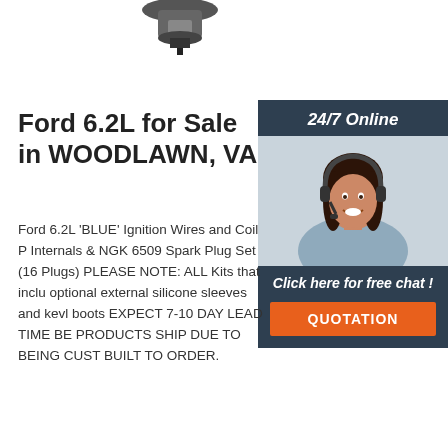[Figure (photo): Partial product image of a spark plug or automotive part visible at the top of the page]
Ford 6.2L for Sale in WOODLAWN, VA
Ford 6.2L 'BLUE' Ignition Wires and Coil P Internals & NGK 6509 Spark Plug Set (16 Plugs) PLEASE NOTE: ALL Kits that inclu optional external silicone sleeves and kevl boots EXPECT 7-10 DAY LEAD TIME BE PRODUCTS SHIP DUE TO BEING CUST BUILT TO ORDER.
[Figure (photo): Customer service representative woman with headset smiling, with '24/7 Online' header, 'Click here for free chat!' text, and orange QUOTATION button in a dark sidebar]
Get Price